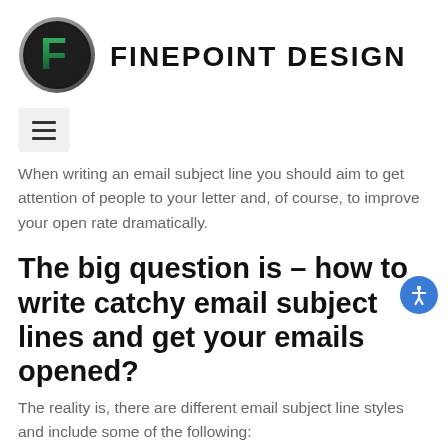FINEPOINT DESIGN
[Figure (logo): Finepoint Design logo: dark circular badge with stylized green F letter, next to bold uppercase text FINEPOINT DESIGN]
When writing an email subject line you should aim to get attention of people to your letter and, of course, to improve your open rate dramatically.
The big question is – how to write catchy email subject lines and get your emails opened?
The reality is, there are different email subject line styles and include some of the following: